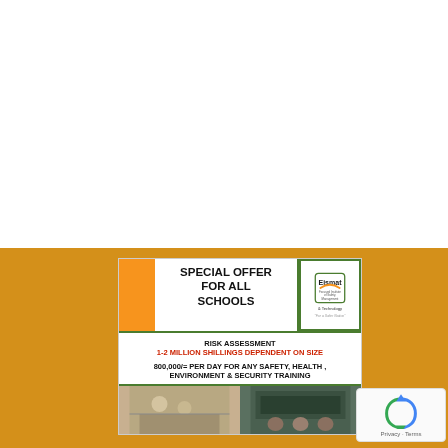[Figure (infographic): Eismat (Focused Institute of Safety, Management & Technology) advertisement card on orange/gold background. Card has orange stripe on left, title 'SPECIAL OFFER FOR ALL SCHOOLS' in center, Eismat logo top-right. Body text: 'RISK ASSESSMENT 1-2 MILLION SHILLINGS DEPENDENT ON SIZE' and '800,000/= PER DAY FOR ANY SAFETY, HEALTH, ENVIRONMENT & SECURITY TRAINING'. Bottom shows photos of students/classroom.]
[Figure (logo): Google reCAPTCHA badge in bottom-right corner showing reCAPTCHA icon and Privacy/Terms links.]